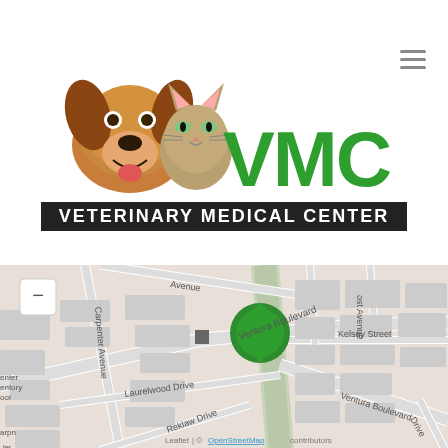[Figure (logo): Veterinary Medical Center (VMC) logo with dog and cat photos and green VMC text above a black banner reading VETERINARY MEDICAL CENTER]
[Figure (map): OpenStreetMap map showing Ventura Boulevard area with a green location pin marker, streets including Carpenter Avenue, Laurelwood Drive, Reklaw Drive, Los Angeles River, and Kelsey Street. Map attribution reads Leaflet | © OpenStreetMap contributors]
[Figure (other): Dark footer bar with white accessibility/wheelchair widget showing wheelchair icon and double left-arrow chevron]